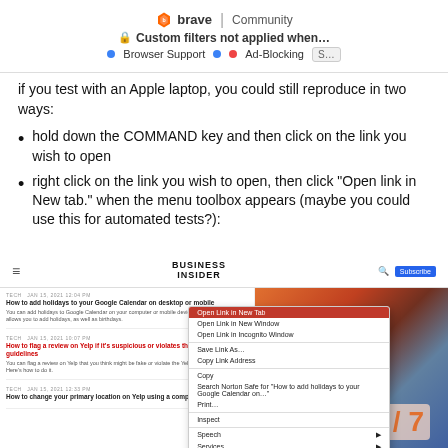Brave | Community — Custom filters not applied when… | Browser Support | Ad-Blocking | S…
if you test with an Apple laptop, you could still reproduce in two ways:
hold down the COMMAND key and then click on the link you wish to open
right click on the link you wish to open, then click "Open link in New tab." when the menu toolbox appears (maybe you could use this for automated tests?):
[Figure (screenshot): Screenshot of Business Insider website showing a right-click context menu with 'Open Link in New Tab' highlighted in red, along with other options like Open Link in New Window, Open Link in Incognito Window, Save Link As, Copy Link Address, Copy, Search Norton Safe for..., Print, Inspect, Speech, Services. Behind the menu are article previews including 'How to add holidays to your Google Calendar on desktop or mobile' and 'How to flag a review on Yelp if it's suspicious or violates the platform guidelines'.]
5 / 7